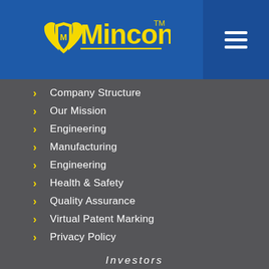[Figure (logo): Mincon logo with yellow text and wing/shield emblem on blue background, with hamburger menu icon on right]
Company Structure
Our Mission
Engineering
Manufacturing
Engineering
Health & Safety
Quality Assurance
Virtual Patent Marking
Privacy Policy
Investors
Board & Management
Financial information
Shareholders
Corporate Governance
RNS announcements